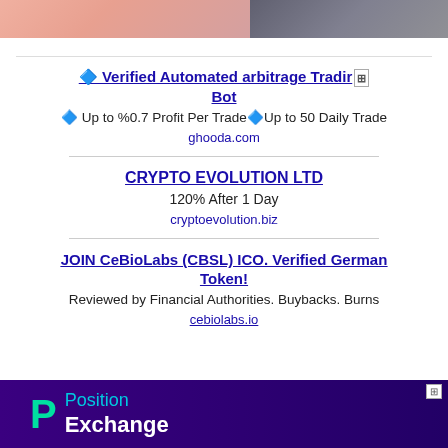[Figure (photo): Two partial images at top: left shows skin-toned content cropped, right shows dark gray/dark content cropped]
🔷 Verified Automated arbitrage Trading Bot 🏧
🔷 Up to %0.7 Profit Per Trade🔷Up to 50 Daily Trade
ghooda.com
CRYPTO EVOLUTION LTD
120% After 1 Day
cryptoevolution.biz
JOIN CeBioLabs (CBSL) ICO. Verified German Token!
Reviewed by Financial Authorities. Buybacks. Burns
cebiolabs.io
[Figure (illustration): Position Exchange banner ad with purple background, P logo in teal, text 'Position Exchange' in white/teal]